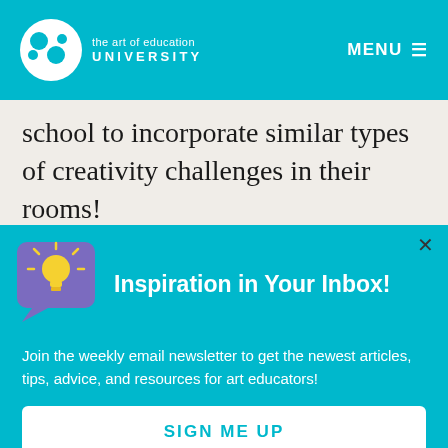the art of education UNIVERSITY  MENU
school to incorporate similar types of creativity challenges in their rooms!
But all of that aside, perhaps most importantly, Art Challenges allow students
Inspiration in Your Inbox!
Join the weekly email newsletter to get the newest articles, tips, advice, and resources for art educators!
SIGN ME UP